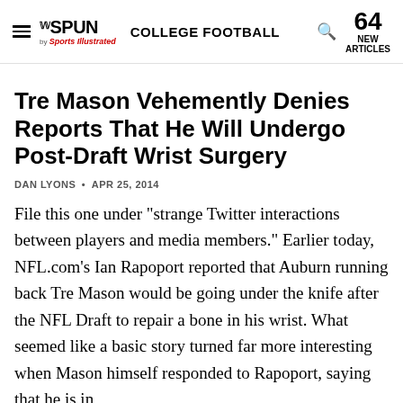THE SPUN by Sports Illustrated — COLLEGE FOOTBALL — 64 NEW ARTICLES
Tre Mason Vehemently Denies Reports That He Will Undergo Post-Draft Wrist Surgery
DAN LYONS • APR 25, 2014
File this one under "strange Twitter interactions between players and media members." Earlier today, NFL.com's Ian Rapoport reported that Auburn running back Tre Mason would be going under the knife after the NFL Draft to repair a bone in his wrist. What seemed like a basic story turned far more interesting when Mason himself responded to Rapoport, saying that he is in